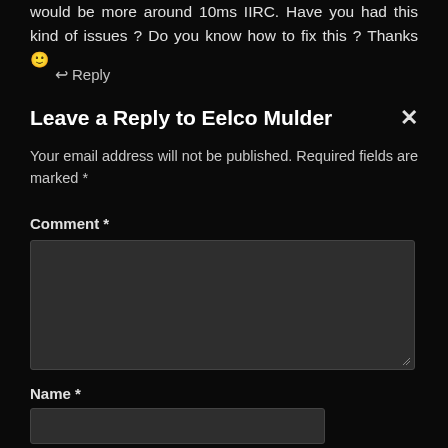would be more around 10ms IIRC. Have you had this kind of issues ? Do you know how to fix this ? Thanks 🙂
↩Reply
Leave a Reply to Eelco Mulder
Your email address will not be published. Required fields are marked *
Comment *
[Figure (screenshot): Empty comment textarea input box with dark background]
Name *
[Figure (screenshot): Empty name text input box with dark background]
Email *